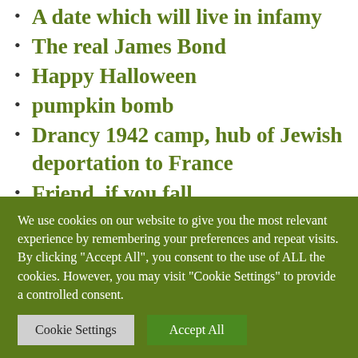A date which will live in infamy
The real James Bond
Happy Halloween
pumpkin bomb
Drancy 1942 camp, hub of Jewish deportation to France
Friend, if you fall...
They were 1038
German equipment in Normandy: Panzer IV Ausf. G
We use cookies on our website to give you the most relevant experience by remembering your preferences and repeat visits. By clicking “Accept All”, you consent to the use of ALL the cookies. However, you may visit "Cookie Settings" to provide a controlled consent.